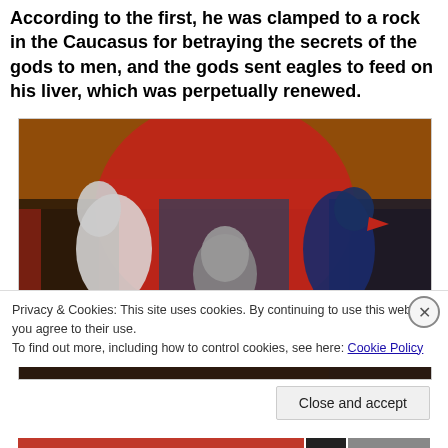According to the first, he was clamped to a rock in the Caucasus for betraying the secrets of the gods to men, and the gods sent eagles to feed on his liver, which was perpetually renewed.
[Figure (illustration): A painting depicting a mythological scene with three figures: a white bird-like creature on the left, a human face in the center, and a dark bird figure on the right, set against a red and dark background.]
Privacy & Cookies: This site uses cookies. By continuing to use this website, you agree to their use.
To find out more, including how to control cookies, see here: Cookie Policy